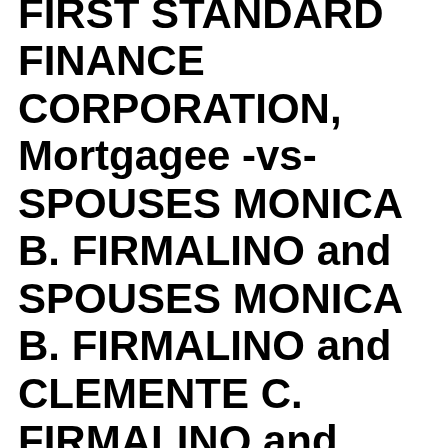FIRST STANDARD FINANCE CORPORATION, Mortgagee -vs- SPOUSES MONICA B. FIRMALINO and SPOUSES MONICA B. FIRMALINO and CLEMENTE C. FIRMALINO and